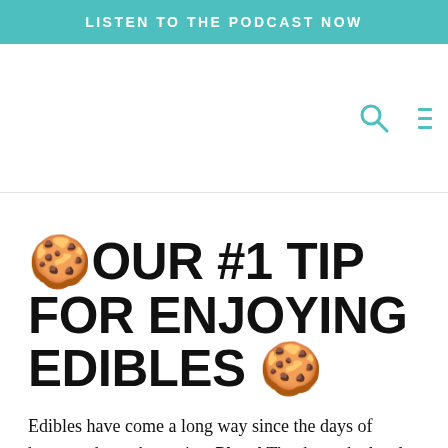LISTEN TO THE PODCAST NOW
[Figure (screenshot): Navigation bar area with search icon and menu icon on white background]
🍪OUR #1 TIP FOR ENJOYING EDIBLES 🍪
Edibles have come a long way since the days of homemade pot brownies. Phew! Thanks to the legal market and rigorous testing standards, you can expect a